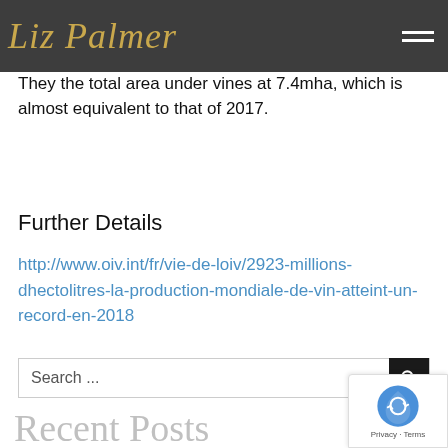Liz Palmer
They the total area under vines at 7.4mha, which is almost equivalent to that of 2017.
Further Details
http://www.oiv.int/fr/vie-de-loiv/2923-millions-dhectolitres-la-production-mondiale-de-vin-atteint-un-record-en-2018
Search ...
Recent Posts